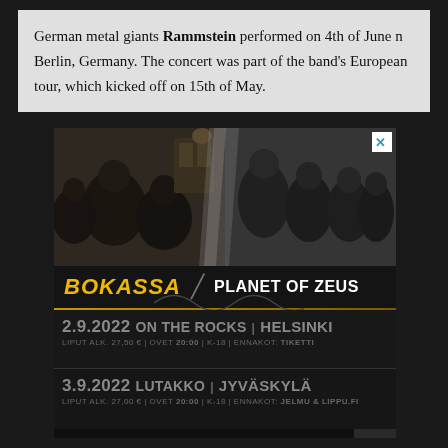German metal giants Rammstein performed on 4th of June n Berlin, Germany. The concert was part of the band's European tour, which kicked off on 15th of May.
[Figure (infographic): Concert advertisement for Bokassa and Planet of Zeus. Two band photos side by side divided by diagonal slash. Band names displayed in large text. Two show dates listed: 2.9.2022 On The Rocks Helsinki and 3.9.2022 Lutakko Jyväskylä. Sponsor logos at bottom: TuskaLive, Grey Beard, tiketti, lippu.fi.]